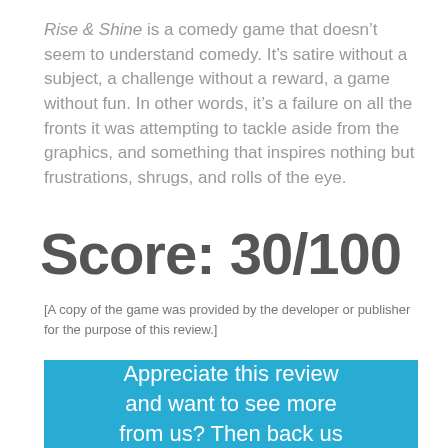Rise & Shine is a comedy game that doesn't seem to understand comedy. It's satire without a subject, a challenge without a reward, a game without fun. In other words, it's a failure on all the fronts it was attempting to tackle aside from the graphics, and something that inspires nothing but frustrations, shrugs, and rolls of the eye.
Score: 30/100
[A copy of the game was provided by the developer or publisher for the purpose of this review.]
Appreciate this review and want to see more from us? Then back us